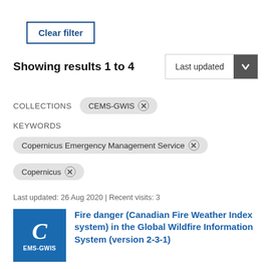Clear filter
Showing results 1 to 4
Last updated
COLLECTIONS   CEMS-GWIS ⊗
KEYWORDS
Copernicus Emergency Management Service ⊗
Copernicus ⊗
Last updated: 26 Aug 2020 | Recent visits: 3
Fire danger (Canadian Fire Weather Index system) in the Global Wildfire Information System (version 2-3-1)